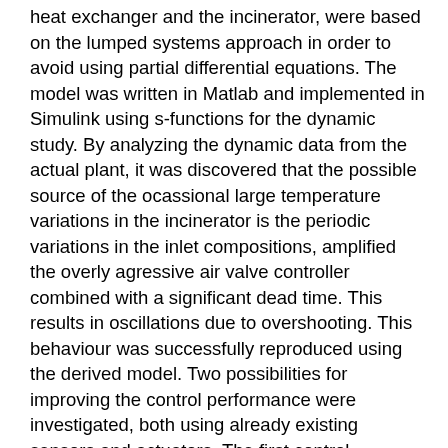heat exchanger and the incinerator, were based on the lumped systems approach in order to avoid using partial differential equations. The model was written in Matlab and implemented in Simulink using s-functions for the dynamic study. By analyzing the dynamic data from the actual plant, it was discovered that the possible source of the ocassional large temperature variations in the incinerator is the periodic variations in the inlet compositions, amplified the overly agressive air valve controller combined with a significant dead time. This results in oscillations due to overshooting. This behaviour was successfully reproduced using the derived model. Two possibilities for improving the control performance were investigated, both using already existing sensors and actuators. The first control improvement involved reducing the proportional gain according to the SIMC tuning rules for PI controllers. This resulted in a significant reduction in the amplitude of the oscillations in the temperatures throughout the reactor, and thus a more stable performance. Finally, cascade control was implemented using the faster-responding catalyst bed temperature for the inner loop, and the reactor outlet temperature for the outer loop. This provided the most optimal results with the best disturbance rejection as it is able to compensate for the disturbance before it is detected in the outlet temperature.